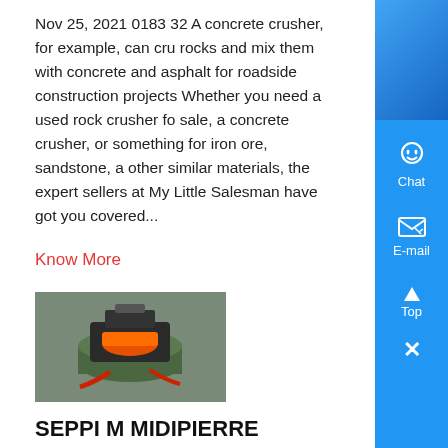Nov 25, 2021 0183 32 A concrete crusher, for example, can crush rocks and mix them with concrete and asphalt for roadside construction projects Whether you need a used rock crusher for sale, a concrete crusher, or something for iron ore, sandstone, a other similar materials, the expert sellers at My Little Salesman have got you covered...
Know More
[Figure (photo): Photo of a stone crusher machine - SEPPI MIDIPIERRE device being operated, with orange and mechanical components visible]
SEPPI M MIDIPIERRE
SEPPI MIDIPIERRE crush and recycle stones up to 20 cm 8 21 First prototype of the SEPPI MIDIPIERRE stone crusher was bu